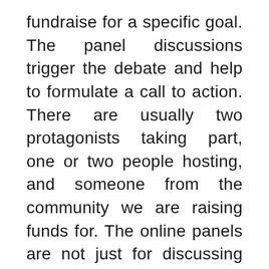fundraise for a specific goal. The panel discussions trigger the debate and help to formulate a call to action. There are usually two protagonists taking part, one or two people hosting, and someone from the community we are raising funds for. The online panels are not just for discussing topics and concepts but rather for building movements and encouraging alliances and bringing forth a call to action for more privileged audiences to donate to frontline communities. Our partners are delighted to use these events as their organizing tools, and privileged audiences are very happy to donate because it's a unique way to understand fundraising and climate and